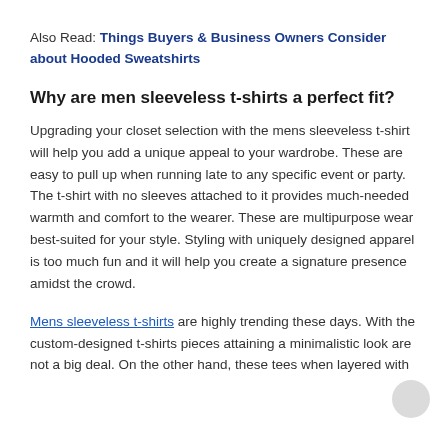Also Read: Things Buyers & Business Owners Consider about Hooded Sweatshirts
Why are men sleeveless t-shirts a perfect fit?
Upgrading your closet selection with the mens sleeveless t-shirt will help you add a unique appeal to your wardrobe. These are easy to pull up when running late to any specific event or party. The t-shirt with no sleeves attached to it provides much-needed warmth and comfort to the wearer. These are multipurpose wear best-suited for your style. Styling with uniquely designed apparel is too much fun and it will help you create a signature presence amidst the crowd.
Mens sleeveless t-shirts are highly trending these days. With the custom-designed t-shirts pieces attaining a minimalistic look are not a big deal. On the other hand, these tees when layered with